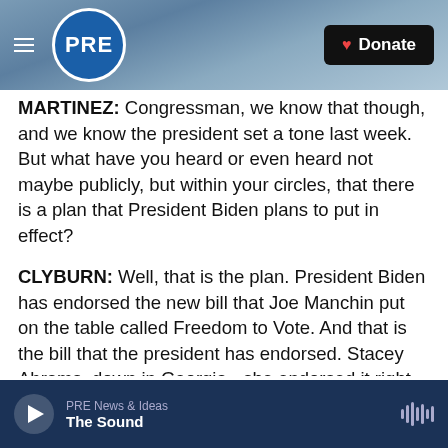PRE | Donate
MARTINEZ: Congressman, we know that though, and we know the president set a tone last week. But what have you heard or even heard not maybe publicly, but within your circles, that there is a plan that President Biden plans to put in effect?
CLYBURN: Well, that is the plan. President Biden has endorsed the new bill that Joe Manchin put on the table called Freedom to Vote. And that is the bill that the president has endorsed. Stacey Abrams, down in Georgia - she endorsed it right after Joe Manchin brought it out. I expressed public support for it, and also the bill Senator Abrams also been...
PRE News & Ideas | The Sound